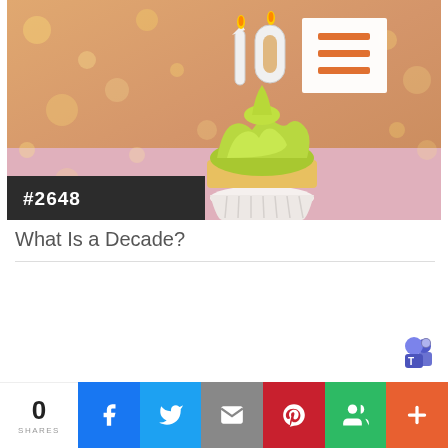[Figure (photo): A birthday cupcake with green frosting and a '10' candle on top, set against a warm bokeh background with a pink surface. A white menu icon box with orange horizontal lines appears in the top right. A dark badge reading '#2648' overlays the bottom left of the image.]
What Is a Decade?
[Figure (logo): Microsoft Teams logo — purple/blue shield icon with a white 'T' and small figures]
0 SHARES — Social share bar with Facebook, Twitter, Email, Pinterest, Google+, and More buttons